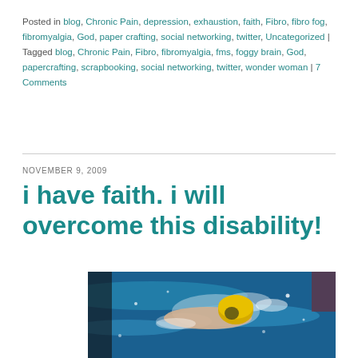Posted in blog, Chronic Pain, depression, exhaustion, faith, Fibro, fibro fog, fibromyalgia, God, paper crafting, social networking, twitter, Uncategorized | Tagged blog, Chronic Pain, Fibro, fibromyalgia, fms, foggy brain, God, papercrafting, scrapbooking, social networking, twitter, wonder woman | 7 Comments
NOVEMBER 9, 2009
i have faith. i will overcome this disability!
[Figure (photo): A swimmer doing the freestyle stroke in a pool, wearing a yellow swim cap, with blue water and splashing visible.]